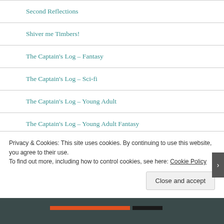Second Reflections
Shiver me Timbers!
The Captain's Log – Fantasy
The Captain's Log – Sci-fi
The Captain's Log – Young Adult
The Captain's Log – Young Adult Fantasy
The Captain's Log – Young Adult Sci-Fi
Privacy & Cookies: This site uses cookies. By continuing to use this website, you agree to their use.
To find out more, including how to control cookies, see here: Cookie Policy
Close and accept